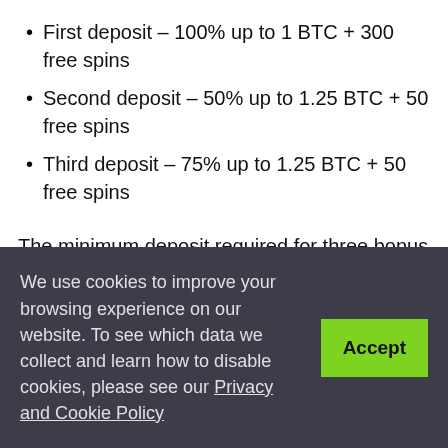First deposit – 100% up to 1 BTC + 300 free spins
Second deposit – 50% up to 1.25 BTC + 50 free spins
Third deposit – 75% up to 1.25 BTC + 50 free spins
The minimum deposit required for three bonus rounds is 0.0005 BTC, 0.05 BCH, 0.005 ETH, 0.15 LTC, 100 DOGE, 25 USDT. There is another thing to keep in mind
We use cookies to improve your browsing experience on our website. To see which data we collect and learn how to disable cookies, please see our Privacy and Cookie Policy